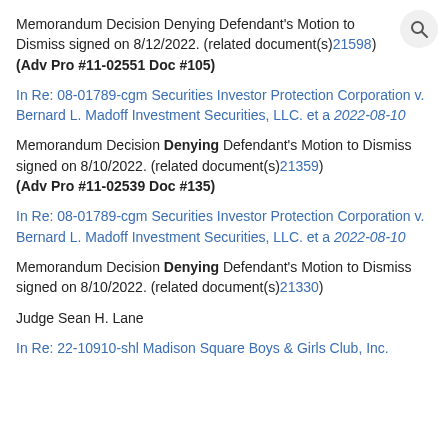Memorandum Decision Denying Defendant's Motion to Dismiss signed on 8/12/2022. (related document(s)21598) (Adv Pro #11-02551 Doc #105)
In Re: 08-01789-cgm Securities Investor Protection Corporation v. Bernard L. Madoff Investment Securities, LLC. et a 2022-08-10
Memorandum Decision Denying Defendant's Motion to Dismiss signed on 8/10/2022. (related document(s)21359) (Adv Pro #11-02539 Doc #135)
In Re: 08-01789-cgm Securities Investor Protection Corporation v. Bernard L. Madoff Investment Securities, LLC. et a 2022-08-10
Memorandum Decision Denying Defendant's Motion to Dismiss signed on 8/10/2022. (related document(s)21330)
Judge Sean H. Lane
In Re: 22-10910-shl Madison Square Boys & Girls Club, Inc.